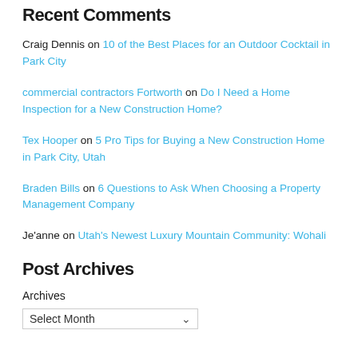Recent Comments
Craig Dennis on 10 of the Best Places for an Outdoor Cocktail in Park City
commercial contractors Fortworth on Do I Need a Home Inspection for a New Construction Home?
Tex Hooper on 5 Pro Tips for Buying a New Construction Home in Park City, Utah
Braden Bills on 6 Questions to Ask When Choosing a Property Management Company
Je'anne on Utah's Newest Luxury Mountain Community: Wohali
Post Archives
Archives
Select Month